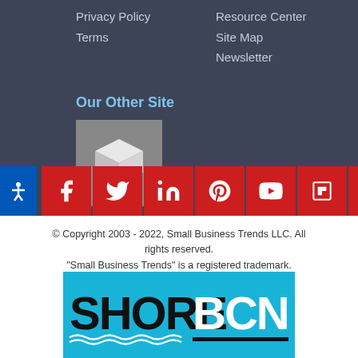Privacy Policy
Terms
Resource Center
Site Map
Newsletter
Our Other Site
[Figure (logo): White 3D cube icon on grey background]
[Figure (other): Social media icon bar: Facebook, Twitter, LinkedIn, Pinterest, YouTube, Flipboard, RSS — red square icons with white symbols. Accessibility icon (person with arms out) in blue square on left.]
© Copyright 2003 - 2022, Small Business Trends LLC. All rights reserved.
"Small Business Trends" is a registered trademark.
[Figure (logo): SHORE BCN logo on cyan/teal background. SHORE in black bold, BCN in white bold, with wave underline decoration.]